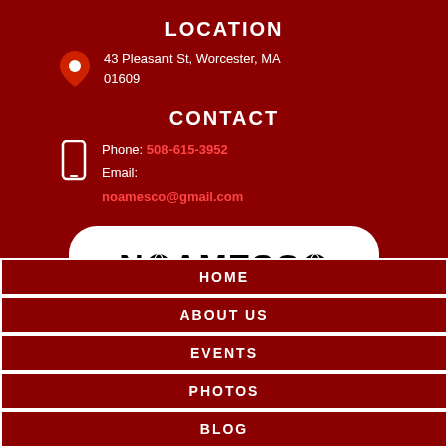LOCATION
43 Pleasant St, Worcester, MA 01609
CONTACT
Phone: 508-615-3952
Email: noamesco@gmail.com
[Figure (logo): NOAMESCO logo with globe icons replacing the 'O' letters, black text on white rounded rectangle background]
HOME
ABOUT US
EVENTS
PHOTOS
BLOG